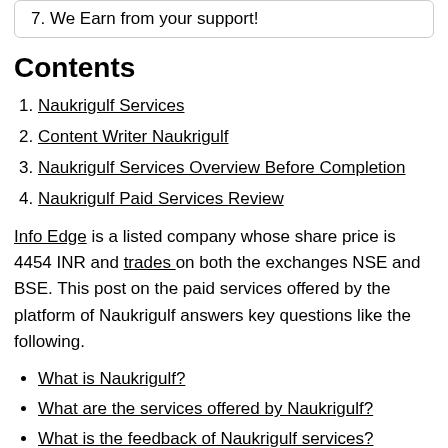7. We Earn from your support!
Contents
1. Naukrigulf Services
2. Content Writer Naukrigulf
3. Naukrigulf Services Overview Before Completion
4. Naukrigulf Paid Services Review
Info Edge is a listed company whose share price is 4454 INR and trades on both the exchanges NSE and BSE. This post on the paid services offered by the platform of Naukrigulf answers key questions like the following.
What is Naukrigulf?
What are the services offered by Naukrigulf?
What is the feedback of Naukrigulf services?
Naukrigulf review
Should you take paid services from Naukrigulf?